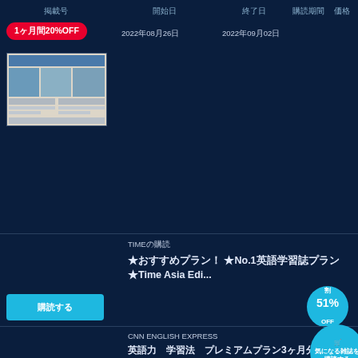掲載号　開始日　終了日　購読期間　価格
1ヶ月間20%OFF
2022年08月26日
2022年09月02日
[Figure (screenshot): Newspaper thumbnail image]
TIMEの購読
★おすすめプラン！ ★No.1英語学習誌プラン★Time Asia Edi...
割 51% OFF
購読する
CNN ENGLISH EXPRESS
英語力 学習法 プレミアムプラン3ヶ月分を無料でプレゼントCN...
2022年08月05日発行
購読する
気になる雑誌を 購読する